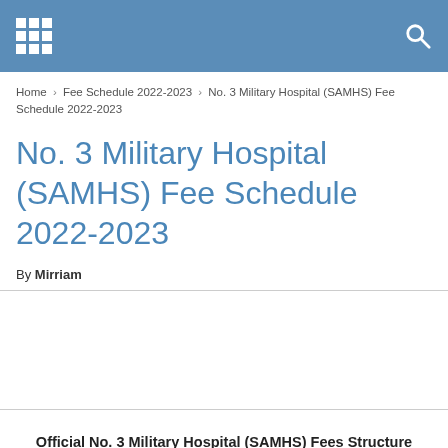No. 3 Military Hospital (SAMHS) Fee Schedule 2022-2023
Home › Fee Schedule 2022-2023 › No. 3 Military Hospital (SAMHS) Fee Schedule 2022-2023
No. 3 Military Hospital (SAMHS) Fee Schedule 2022-2023
By Mirriam
Official No. 3 Military Hospital (SAMHS) Fees Structure 2022-2023, Tuition Fees and All Fees Structure (PDF Download)